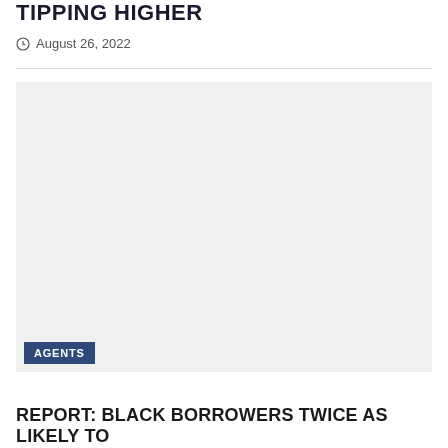TIPPING HIGHER
August 26, 2022
[Figure (photo): Large light gray placeholder image area]
AGENTS
REPORT: BLACK BORROWERS TWICE AS LIKELY TO